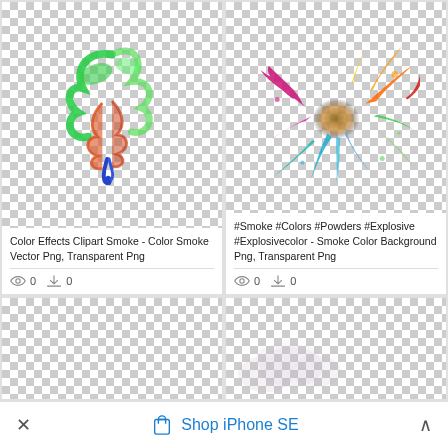[Figure (illustration): Color smoke/flame clipart on transparent checker background — swirling green, orange, and blue smoke shapes]
Color Effects Clipart Smoke - Color Smoke Vector Png, Transparent Png
0  0
[Figure (photo): Colorful powder explosion on transparent checker background — vibrant multicolor powder burst (pink, blue, orange, green, yellow)]
#Smoke #Colors #Powders #Explosive #Explosivecolor - Smoke Color Background Png, Transparent Png
0  0
[Figure (illustration): Empty transparent checker background — bottom left card, no image visible]
[Figure (photo): Purple/grey smoke cloud on transparent checker background — partial smoke puff visible]
× Shop iPhone SE ^